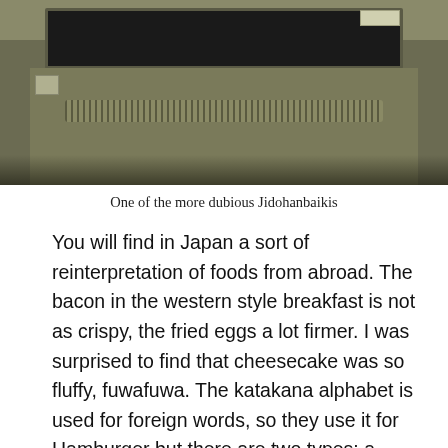[Figure (photo): A photograph of a toaster oven / Jidohanbaiki vending machine appliance, metallic brown/olive colored, with a dark window/door opening at the top and ventilation grille slots along the front.]
One of the more dubious Jidohanbaikis
You will find in Japan a sort of reinterpretation of foods from abroad. The bacon in the western style breakfast is not as crispy, the fried eggs a lot firmer. I was surprised to find that cheesecake was so fluffy, fuwafuwa. The katakana alphabet is used for foreign words, so they use it for Hamburger but there are two types: a hambaagu is sort of like a fancy patty but referred to as a Japanese steak while a hambaaga is a regular burger. Curry here is a trademark meal but it is nowhere near the level of spice that you usually associate with the word. Mayonnaise is used as a condiment that you put on salads, and it has a